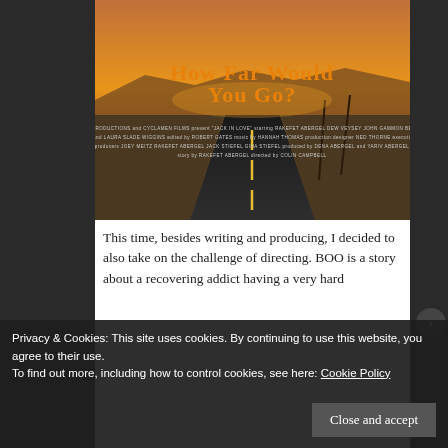[Figure (photo): Movie poster for 'Jack in Love' (Jack in Love). Shows a desert highway at sunset with orange sky. Large orange stylized text reads 'How Far Would You Go?' with production credits below in small white text: LUCKY DOC PRODUCTIONS and CYCLAMEN FILMS present 'JACK IN LOVE' starring RAKEFET ABERGEL DEW VEYSEY JOHN GAMMON BEN KACSANDI with CHRISTOPHER LUNG and LAURA SLADE WIGGINS, edited by ROBERT GATES, music by HANNAH THOMAS, production designer NED THORNE, executive producer JOHN KEARNS, producers JOEY MEITZ, RAKEFET ABERGEL, JACK STIEFEL, GINA STIEFEL, produced by DENA ABERGEL and YARIV ABERGEL, story by RAKEFET ABERGEL, directed by COLIN CAMPBELL.]
This time, besides writing and producing, I decided to also take on the challenge of directing. BOO is a story about a recovering addict having a very hard
Privacy & Cookies: This site uses cookies. By continuing to use this website, you agree to their use.
To find out more, including how to control cookies, see here: Cookie Policy
Close and accept